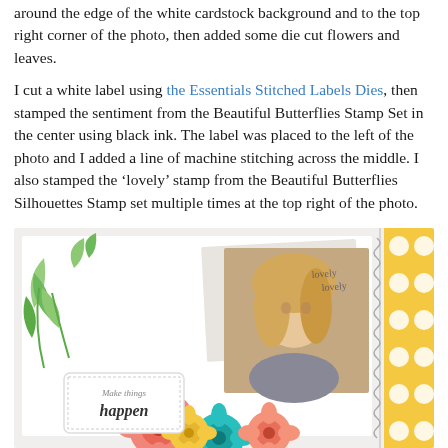around the edge of the white cardstock background and to the top right corner of the photo, then added some die cut flowers and leaves.
I cut a white label using the Essentials Stitched Labels Dies, then stamped the sentiment from the Beautiful Butterflies Stamp Set in the center using black ink. The label was placed to the left of the photo and I added a line of machine stitching across the middle. I also stamped the ‘lovely’ stamp from the Beautiful Butterflies Silhouettes Stamp set multiple times at the top right of the photo.
[Figure (photo): A scrapbook layout photo showing a young girl with blonde hair, surrounded by colorful die-cut flowers in pink, coral, teal, and yellow. Green leaf die cuts are on the left. A white stitched label reads 'Make things happen'. The words 'lovely lovely' appear stamped at top right. A yellow polka dot paper strip is on the far right with a spiral binding.]